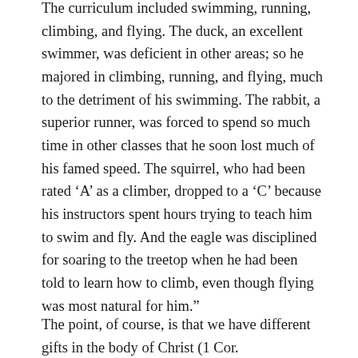The curriculum included swimming, running, climbing, and flying. The duck, an excellent swimmer, was deficient in other areas; so he majored in climbing, running, and flying, much to the detriment of his swimming. The rabbit, a superior runner, was forced to spend so much time in other classes that he soon lost much of his famed speed. The squirrel, who had been rated ‘A’ as a climber, dropped to a ‘C’ because his instructors spent hours trying to teach him to swim and fly. And the eagle was disciplined for soaring to the treetop when he had been told to learn how to climb, even though flying was most natural for him.”
The point, of course, is that we have different gifts in the body of Christ (1 Cor.